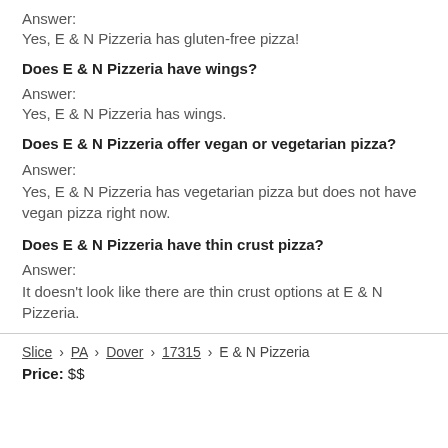Answer:
Yes, E & N Pizzeria has gluten-free pizza!
Does E & N Pizzeria have wings?
Answer:
Yes, E & N Pizzeria has wings.
Does E & N Pizzeria offer vegan or vegetarian pizza?
Answer:
Yes, E & N Pizzeria has vegetarian pizza but does not have vegan pizza right now.
Does E & N Pizzeria have thin crust pizza?
Answer:
It doesn't look like there are thin crust options at E & N Pizzeria.
Slice > PA > Dover > 17315 > E & N Pizzeria | Price: $$